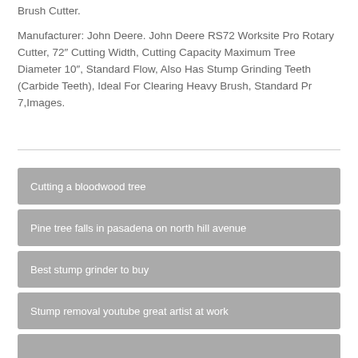Brush Cutter.
Manufacturer: John Deere. John Deere RS72 Worksite Pro Rotary Cutter, 72″ Cutting Width, Cutting Capacity Maximum Tree Diameter 10″, Standard Flow, Also Has Stump Grinding Teeth (Carbide Teeth), Ideal For Clearing Heavy Brush, Standard Pr 7,Images.
Cutting a bloodwood tree
Pine tree falls in pasadena on north hill avenue
Best stump grinder to buy
Stump removal youtube great artist at work